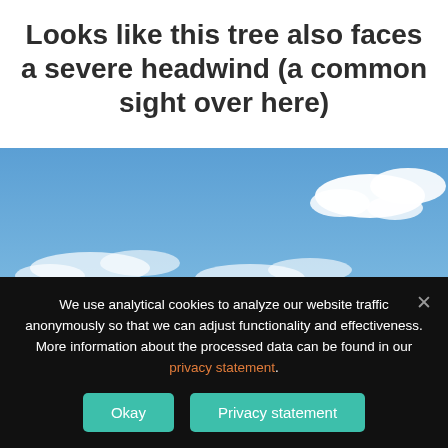Looks like this tree also faces a severe headwind (a common sight over here)
[Figure (photo): Outdoor photograph of a blue sky with white clouds and a tree canopy visible at the bottom of the frame]
We use analytical cookies to analyze our website traffic anonymously so that we can adjust functionality and effectiveness. More information about the processed data can be found in our privacy statement.
Okay | Privacy statement